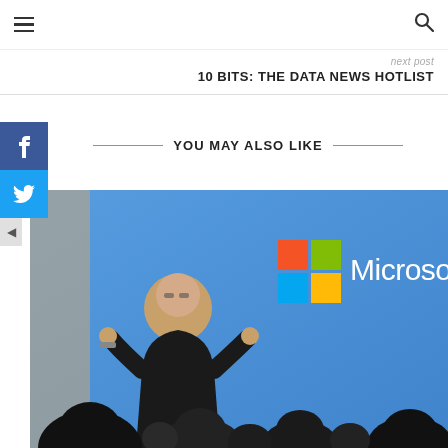≡   🔍
next post
10 BITS: THE DATA NEWS HOTLIST
YOU MAY ALSO LIKE
[Figure (photo): A man in a black shirt speaking on a stage in front of a Microsoft logo on a blue background, with audience silhouettes in the foreground.]